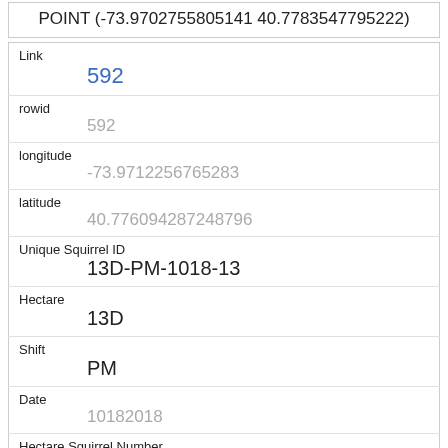| POINT (-73.9702755805141 40.7783547795222) |
| Link | 592 |
| rowid | 592 |
| longitude | -73.9712256765283 |
| latitude | 40.776094287248796 |
| Unique Squirrel ID | 13D-PM-1018-13 |
| Hectare | 13D |
| Shift | PM |
| Date | 10182018 |
| Hectare Squirrel Number | 13 |